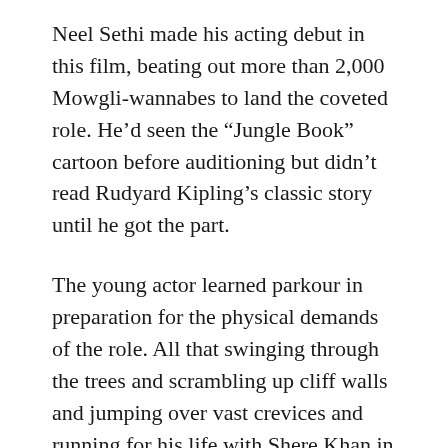Neel Sethi made his acting debut in this film, beating out more than 2,000 Mowgli-wannabes to land the coveted role. He’d seen the “Jungle Book” cartoon before auditioning but didn’t read Rudyard Kipling’s classic story until he got the part.
The young actor learned parkour in preparation for the physical demands of the role. All that swinging through the trees and scrambling up cliff walls and jumping over vast crevices and running for his life with Shere Khan in hot pursuit? No stunt double. Neel Sethi did those things himself. He’ll break your heart when he bids his adoptive mother good-bye as he leaves the wolf pack. Delight you when he figures out